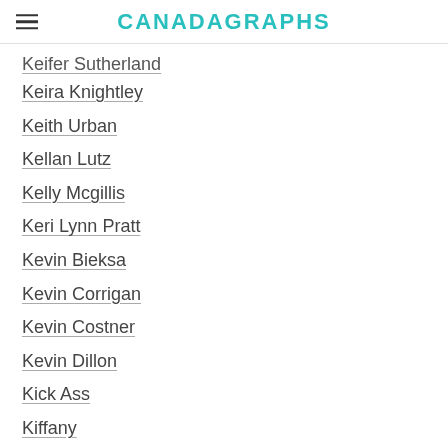CANADAGRAPHS
Keifer Sutherland
Keira Knightley
Keith Urban
Kellan Lutz
Kelly Mcgillis
Keri Lynn Pratt
Kevin Bieksa
Kevin Corrigan
Kevin Costner
Kevin Dillon
Kick Ass
Kiffany
Killer Elite
Kim Cattrall
Kim Coates